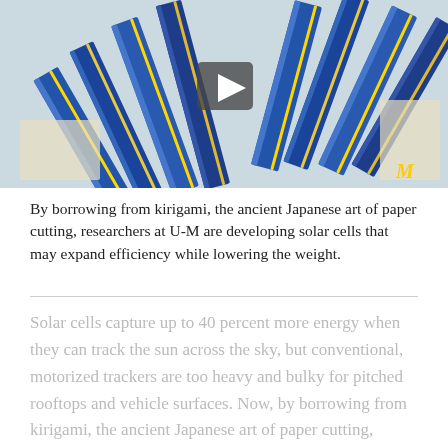[Figure (photo): Video thumbnail showing kirigami-style solar cells made of blue and gold/metallic strips arranged in a folded paper-cutting pattern on a light background, with a play button overlay and University of Michigan block M logo in yellow at bottom right.]
By borrowing from kirigami, the ancient Japanese art of paper cutting, researchers at U-M are developing solar cells that may expand efficiency while lowering the weight.
Solar cells capture up to 40 percent more energy when they can track the sun across the sky, but conventional, motorized trackers are too heavy and bulky for pitched rooftops and vehicle surfaces. Now, by borrowing from kirigami, the ancient Japanese art of paper cutting, researchers at the University of Michigan developed solar cells that